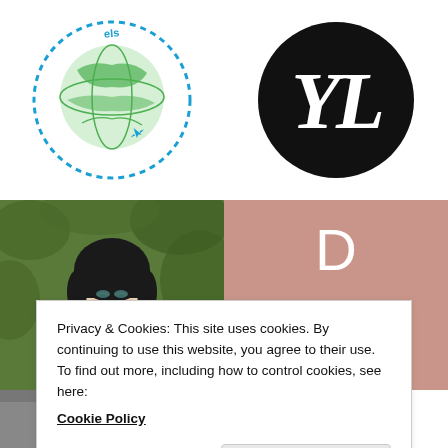[Figure (logo): Circular travel logo with globe, airplane, and dotted border reading 'travels']
[Figure (logo): Black circle with white stylized 'YL' or 'ZG' monogram lettering]
[Figure (photo): Photo of a Kimmidoll Japanese kokeshi-style doll with black hair, wearing a floral kimono, holding white flowers, set against green foliage background]
[Figure (logo): Debbest Israel logo: dusty rose/salmon background with white 'D' lettermark and 'Debbest Israel' text]
[Figure (photo): Bottom-left partially visible image, appears dark/grey]
[Figure (logo): Bottom-right partially visible red circular logo]
Privacy & Cookies: This site uses cookies. By continuing to use this website, you agree to their use.
To find out more, including how to control cookies, see here:
Cookie Policy
Close and accept